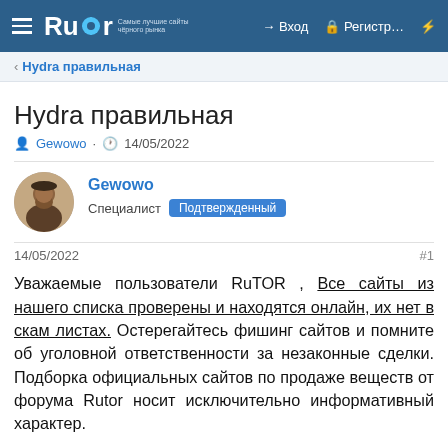Rutor — Вход — Регистр...
< Hydra правильная
Hydra правильная
Gewowo · 14/05/2022
Gewowo
Специалист Подтвержденный
14/05/2022  #1
Уважаемые пользователи RuTOR , Все сайты из нашего списка проверены и находятся онлайн, их нет в скам листах. Остерегайтесь фишинг сайтов и помните об уголовной ответственности за незаконные сделки. Подборка официальных сайтов по продаже веществ от форума Rutor носит исключительно информативный характер.